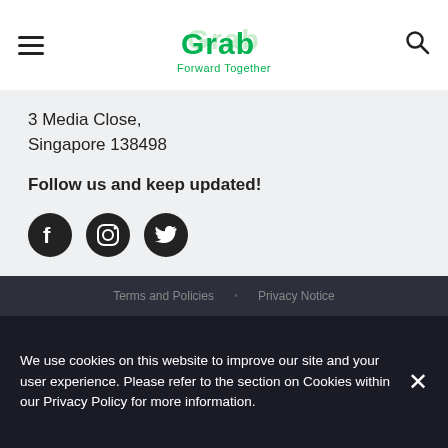Grab — Forward Together
3 Media Close,
Singapore 138498
Follow us and keep updated!
[Figure (other): Social media icons: Facebook, Instagram, Twitter]
[Figure (other): Country selector dropdown showing Singapore flag and name with chevron up]
Terms and Policies   Privacy Notice
We use cookies on this website to improve our site and your user experience. Please refer to the section on Cookies within our Privacy Policy for more information.